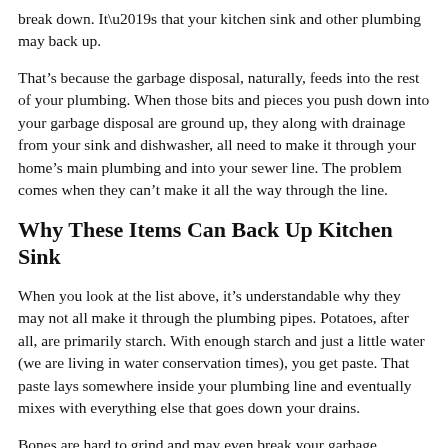break down. It’s that your kitchen sink and other plumbing may back up.
That’s because the garbage disposal, naturally, feeds into the rest of your plumbing. When those bits and pieces you push down into your garbage disposal are ground up, they along with drainage from your sink and dishwasher, all need to make it through your home’s main plumbing and into your sewer line. The problem comes when they can’t make it all the way through the line.
Why These Items Can Back Up Kitchen Sink
When you look at the list above, it’s understandable why they may not all make it through the plumbing pipes. Potatoes, after all, are primarily starch. With enough starch and just a little water (we are living in water conservation times), you get paste. That paste lays somewhere inside your plumbing line and eventually mixes with everything else that goes down your drains.
Bones are hard to grind and may even break your garbage disposal. But even if your garbage disposal is powerful enough to grind up bones, then what are you left with? Mostly calcium particles! And calcium is one of the minerals that build up in plumbing pipes. Egg